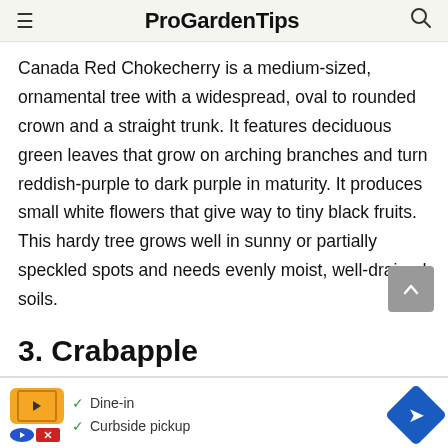ProGardenTips
Canada Red Chokecherry is a medium-sized, ornamental tree with a widespread, oval to rounded crown and a straight trunk. It features deciduous green leaves that grow on arching branches and turn reddish-purple to dark purple in maturity. It produces small white flowers that give way to tiny black fruits. This hardy tree grows well in sunny or partially speckled spots and needs evenly moist, well-drained soils.
3. Crabapple
[Figure (screenshot): Advertisement banner with restaurant dine-in and curbside pickup options, showing an orange logo icon, blue play button, red close button, green checkmarks, and a blue navigation diamond icon.]